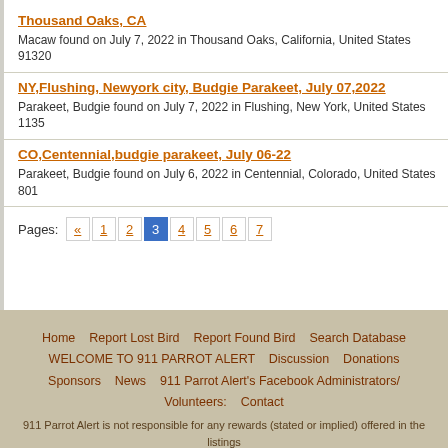Thousand Oaks, CA
Macaw found on July 7, 2022 in Thousand Oaks, California, United States 91320
NY,Flushing, Newyork city, Budgie Parakeet, July 07,2022
Parakeet, Budgie found on July 7, 2022 in Flushing, New York, United States 11355
CO,Centennial,budgie parakeet, July 06-22
Parakeet, Budgie found on July 6, 2022 in Centennial, Colorado, United States 801
Pages: « 1 2 3 4 5 6 7
Home   Report Lost Bird   Report Found Bird   Search Database   WELCOME TO 911 PARROT ALERT   Discussion   Donations   Sponsors   News   911 Parrot Alert's Facebook Administrators/ Volunteers:   Contact
911 Parrot Alert is not responsible for any rewards (stated or implied) offered in the listings on either the web site or on the mail lists.
Copyright © 911 Parrot Alert | Website by AshWebStudio